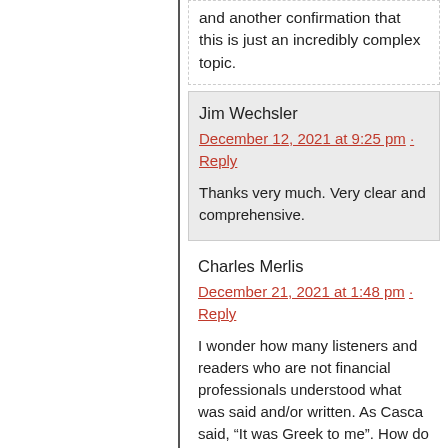and another confirmation that this is just an incredibly complex topic.
Jim Wechsler
December 12, 2021 at 9:25 pm · Reply
Thanks very much. Very clear and comprehensive.
Charles Merlis
December 21, 2021 at 1:48 pm · Reply
I wonder how many listeners and readers who are not financial professionals understood what was said and/or written. As Casca said, “It was Greek to me”. How do I get use out of Bitcoin in everyday